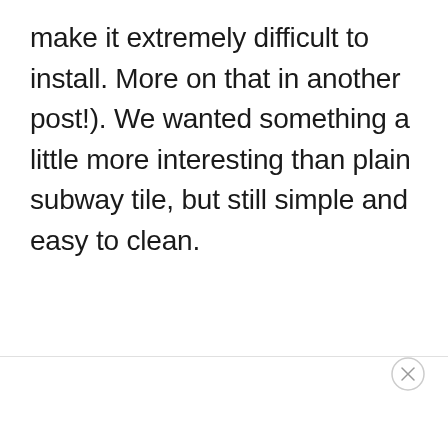make it extremely difficult to install. More on that in another post!). We wanted something a little more interesting than plain subway tile, but still simple and easy to clean.